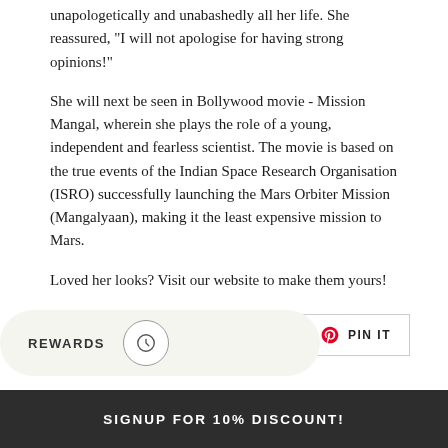unapologetically and unabashedly all her life. She reassured, "I will not apologise for having strong opinions!"
She will next be seen in Bollywood movie - Mission Mangal, wherein she plays the role of a young, independent and fearless scientist. The movie is based on the true events of the Indian Space Research Organisation (ISRO) successfully launching the Mars Orbiter Mission (Mangalyaan), making it the least expensive mission to Mars.
Loved her looks? Visit our website to make them yours!
[Figure (infographic): Social sharing buttons: Facebook Share, Twitter Tweet, Pinterest Pin It]
[Figure (infographic): Rewards pill button with circle icon and REWARDS label]
SIGNUP FOR 10% DISCOUNT!